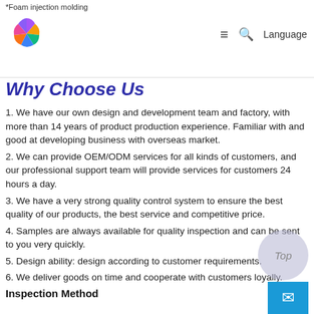*Foam injection molding
Why Choose Us
1. We have our own design and development team and factory, with more than 14 years of product production experience. Familiar with and good at developing business with overseas market.
2. We can provide OEM/ODM services for all kinds of customers, and our professional support team will provide services for customers 24 hours a day.
3. We have a very strong quality control system to ensure the best quality of our products, the best service and competitive price.
4. Samples are always available for quality inspection and can be sent to you very quickly.
5. Design ability: design according to customer requirements.
6. We deliver goods on time and cooperate with customers loyally.
Inspection Method